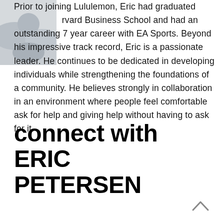[Figure (photo): Partial photo of a person, cropped in the upper-left corner of the page]
Prior to joining Lululemon, Eric had graduated from Harvard Business School and had an outstanding 7 year career with EA Sports. Beyond his impressive track record, Eric is a passionate leader. He continues to be dedicated in developing individuals while strengthening the foundations of a community. He believes strongly in collaboration in an environment where people feel comfortable ask for help and giving help without having to ask for it.
connect with ERIC PETERSEN